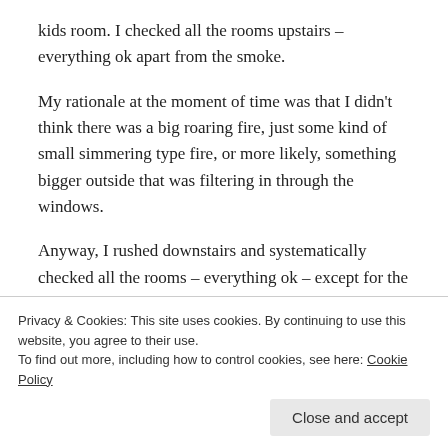kids room. I checked all the rooms upstairs – everything ok apart from the smoke.
My rationale at the moment of time was that I didn't think there was a big roaring fire, just some kind of small simmering type fire, or more likely, something bigger outside that was filtering in through the windows.
Anyway, I rushed downstairs and systematically checked all the rooms – everything ok – except for the smoke. I looked outside, but there was nothing obvious. By the time I returned to the kitchen Victoria was there
Privacy & Cookies: This site uses cookies. By continuing to use this website, you agree to their use.
To find out more, including how to control cookies, see here: Cookie Policy
Close and accept
Whats up.